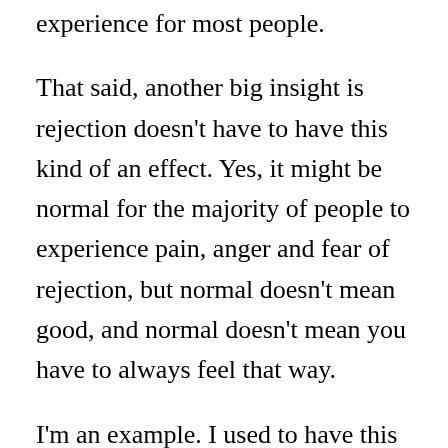experience for most people.
That said, another big insight is rejection doesn’t have to have this kind of an effect. Yes, it might be normal for the majority of people to experience pain, anger and fear of rejection, but normal doesn’t mean good, and normal doesn’t mean you have to always feel that way.
I’m an example. I used to have this kind of pain, anger and fear